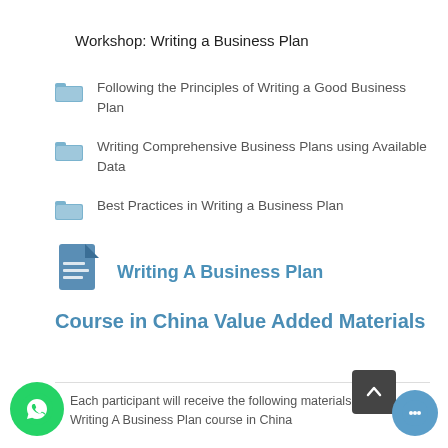Workshop: Writing a Business Plan
Following the Principles of Writing a Good Business Plan
Writing Comprehensive Business Plans using Available Data
Best Practices in Writing a Business Plan
[Figure (illustration): Document icon with lines]
Writing A Business Plan
Course in China Value Added Materials
Each participant will receive the following materials for the Writing A Business Plan course in China